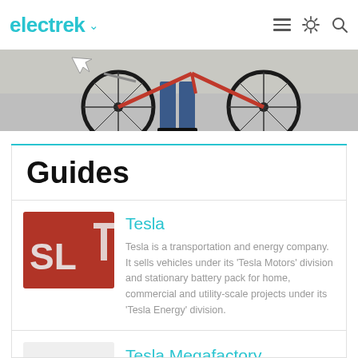electrek
[Figure (photo): Partial view of a person with a bicycle, showing the wheel and lower body wearing jeans, on a light gray background.]
Guides
[Figure (photo): Red background with white Tesla logo letters 'SL' visible, resembling a Tesla signage or logo.]
Tesla
Tesla is a transportation and energy company. It sells vehicles under its 'Tesla Motors' division and stationary battery pack for home, commercial and utility-scale projects under its 'Tesla Energy' division.
[Figure (logo): Electrek 'e' logo in cyan/turquoise color on a light gray background.]
Tesla Megafactory